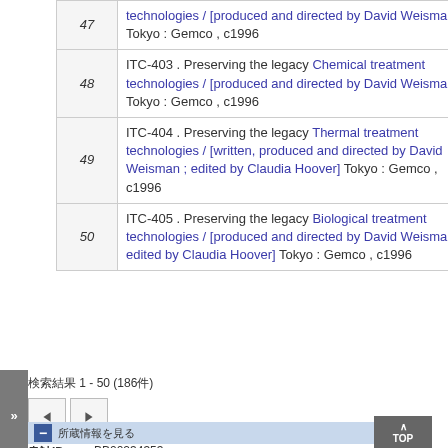| # | Entry |
| --- | --- |
| 47 | technologies / [produced and directed by David Weisman] Tokyo : Gemco , c1996 |
| 48 | ITC-403 . Preserving the legacy Chemical treatment technologies / [produced and directed by David Weisman] Tokyo : Gemco , c1996 |
| 49 | ITC-404 . Preserving the legacy Thermal treatment technologies / [written, produced and directed by David Weisman ; edited by Claudia Hoover] Tokyo : Gemco , c1996 |
| 50 | ITC-405 . Preserving the legacy Biological treatment technologies / [produced and directed by David Weisman ; edited by Claudia Hoover] Tokyo : Gemco , c1996 |
検索結果 1 - 50 (186件)
◀ ▶
所蔵情報を見る
書誌ID BB00234353